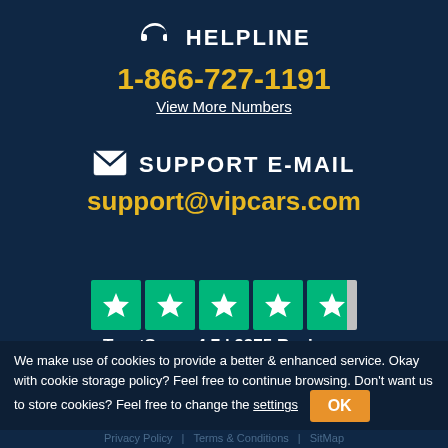HELPLINE
1-866-727-1191
View More Numbers
SUPPORT E-MAIL
support@vipcars.com
[Figure (other): Trustpilot 4-and-a-half green star rating boxes]
TrustScore 4.7 | 9375 Reviews
[Figure (other): Social media icons: Facebook, Twitter, Pinterest, Instagram]
We make use of cookies to provide a better & enhanced service. Okay with cookie storage policy? Feel free to continue browsing. Don't want us to store cookies? Feel free to change the settings  OK
Privacy Policy  |  Terms & Conditions  |  SitMap